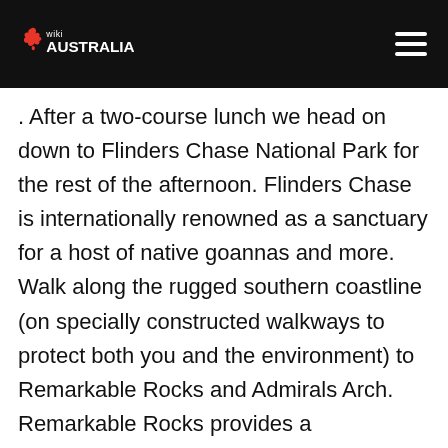wiki AUSTRALIA
. After a two-course lunch we head on down to Flinders Chase National Park for the rest of the afternoon. Flinders Chase is internationally renowned as a sanctuary for a host of native goannas and more. Walk along the rugged southern coastline (on specially constructed walkways to protect both you and the environment) to Remarkable Rocks and Admirals Arch. Remarkable Rocks provides a spectacular backdrop for all you creative photographers so bring plenty of film. Admirals Arch boardwalk takes you down a rugged cliff face to confront a spectacular